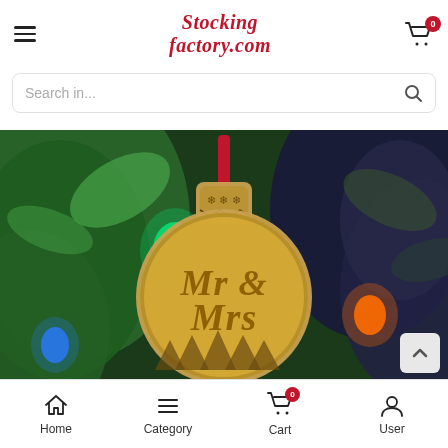Stocking factory.com
Search in...
[Figure (photo): A wooden Christmas ornament in the shape of a ball with 'Mr & Mrs' script text laser cut into it, hanging from a red ribbon on a Christmas tree with colorful lights]
Home | Category | Cart | User